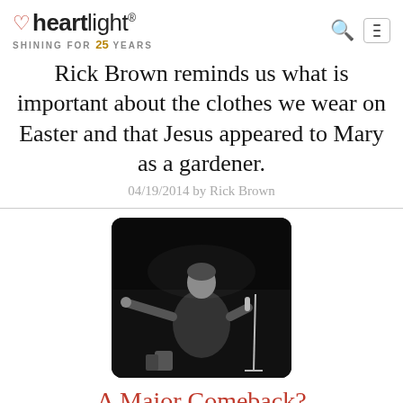heartlight® — SHINING FOR 25 YEARS
Rick Brown reminds us what is important about the clothes we wear on Easter and that Jesus appeared to Mary as a gardener.
04/19/2014 by Rick Brown
[Figure (photo): Black and white photo of a man on stage singing into a microphone with one arm outstretched wide, wearing a dark jacket, with a microphone stand visible to his right.]
A Major Comeback?